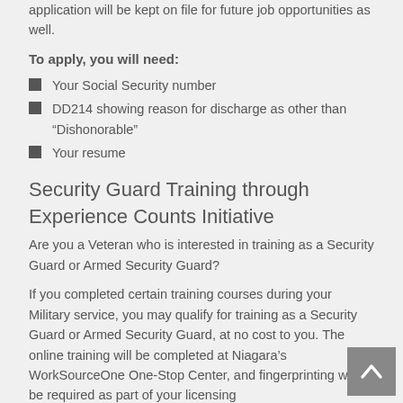application will be kept on file for future job opportunities as well.
To apply, you will need:
Your Social Security number
DD214 showing reason for discharge as other than “Dishonorable”
Your resume
Security Guard Training through Experience Counts Initiative
Are you a Veteran who is interested in training as a Security Guard or Armed Security Guard?
If you completed certain training courses during your Military service, you may qualify for training as a Security Guard or Armed Security Guard, at no cost to you.  The online training will be completed at Niagara’s WorkSourceOne One-Stop Center, and fingerprinting will be required as part of your licensing